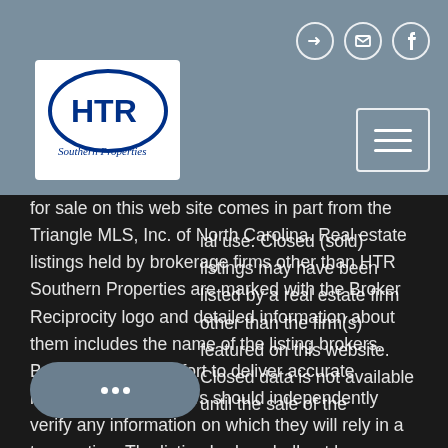[Figure (logo): HTR Southern Properties logo with circular emblem and text]
for sale on this web site comes in part from the Triangle MLS, Inc. of North Carolina. Real estate listings held by brokerage firms other than HTR Southern Properties are marked with the Broker Reciprocity logo and detailed information about them includes the name of the listing brokers. Brokers make an effort to deliver accurate information, but buyers should independently verify any information on which they will rely in a transaction. The listing broker shall not be responsible for any typographical errors, misinformation, or misprints, and they shall be held totally harmless from any damages arising from reliance upon this data. This data is provided exclusively for consumer's personal, non-commercial use. Closed (sold) listings may have been listed by a real estate firm other than the firm(s) featured on this website. Closed data is not available until the sale of the